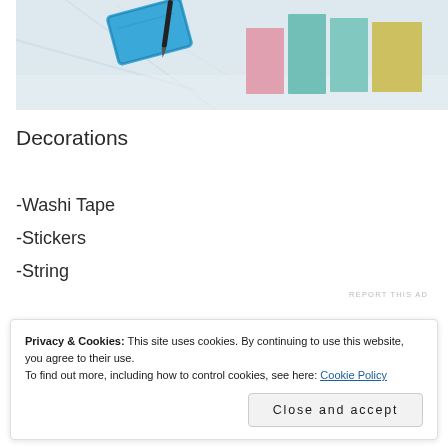[Figure (photo): Photo of a blue pencil case and colorful sticky notes or bookmarks in pink, teal, and yellow on a marble surface]
Decorations
-Washi Tape
-Stickers
-String
REPORT THIS AD
Privacy & Cookies: This site uses cookies. By continuing to use this website, you agree to their use. To find out more, including how to control cookies, see here: Cookie Policy
Close and accept